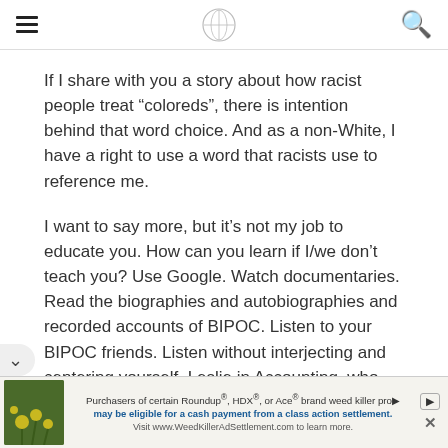[hamburger menu] [logo] [search icon]
If I share with you a story about how racist people treat “coloreds”, there is intention behind that word choice. And as a non-White, I have a right to use a word that racists use to reference me.
I want to say more, but it’s not my job to educate you. How can you learn if I/we don’t teach you? Use Google. Watch documentaries. Read the biographies and autobiographies and recorded accounts of BIPOC. Listen to your BIPOC friends. Listen without interjecting and centering yourself. Leslie in Accounting, who you’ve gone appy Hour with twice, is not your friend. Make BIPOC
[Figure (other): Advertisement banner: image of yellow flowers on dark background, text about Roundup weed killer class action settlement]